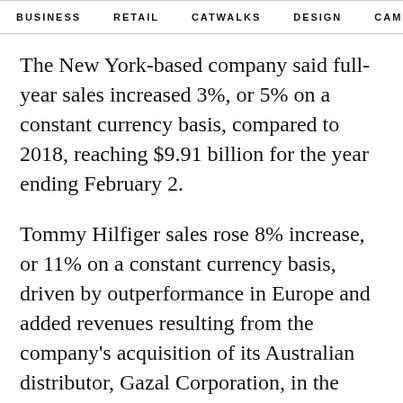BUSINESS   RETAIL   CATWALKS   DESIGN   CAMI  >
The New York-based company said full-year sales increased 3%, or 5% on a constant currency basis, compared to 2018, reaching $9.91 billion for the year ending February 2.
Tommy Hilfiger sales rose 8% increase, or 11% on a constant currency basis, driven by outperformance in Europe and added revenues resulting from the company's acquisition of its Australian distributor, Gazal Corporation, in the second quarter.
International comparable store sales increased 9%, while North America comparable store sales decreased 6%, due to weakness in traffic and consumer spending trends.